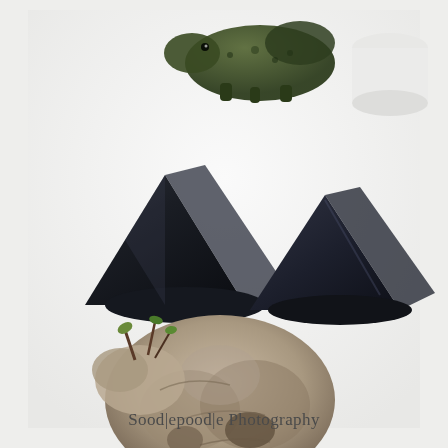[Figure (photo): A product/still-life photograph on a white surface showing: at the top, a dark green textured dinosaur figurine (triceratops or similar); in the middle, two black glossy pyramid-shaped objects (shungite pyramids) of different sizes placed side by side; in the foreground, a rough natural stone or driftwood piece with small plant shoots emerging from it, resembling a bonsai or succulent arrangement on weathered rock.]
Sood|epood|e Photography